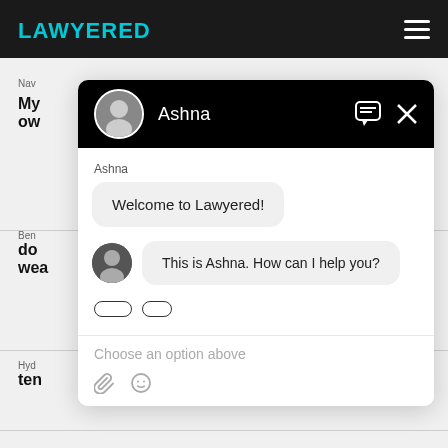[Figure (screenshot): Screenshot of Lawyered website with a chat widget open. Chat agent named Ashna with avatar. Chat messages: 'Welcome to Lawyered!' and 'This is Ashna. How can I help you?' with input area showing 'Choose an option above'.]
LAWYERED
Ashna
Welcome to Lawyered!
This is Ashna. How can I help you?
Choose an option above